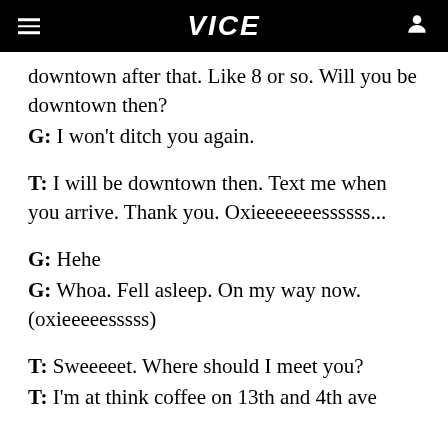VICE
downtown after that. Like 8 or so. Will you be downtown then?
G: I won't ditch you again.
T: I will be downtown then. Text me when you arrive. Thank you. Oxieeeeeeessssss...
G: Hehe
G: Whoa. Fell asleep. On my way now. (oxieeeeesssss)
T: Sweeeeet. Where should I meet you?
T: I'm at think coffee on 13th and 4th ave